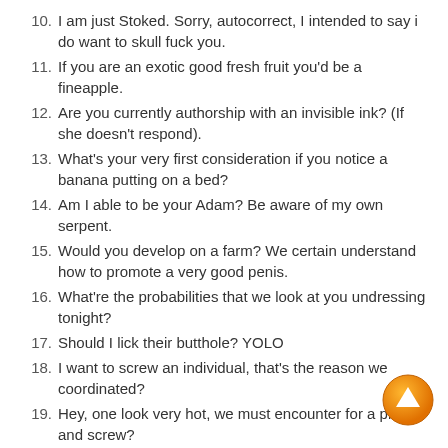10. I am just Stoked. Sorry, autocorrect, I intended to say i do want to skull fuck you.
11. If you are an exotic good fresh fruit you'd be a fineapple.
12. Are you currently authorship with an invisible ink? (If she doesn't respond).
13. What's your very first consideration if you notice a banana putting on a bed?
14. Am I able to be your Adam? Be aware of my own serpent.
15. Would you develop on a farm? We certain understand how to promote a very good penis.
16. What're the probabilities that we look at you undressing tonight?
17. Should I lick their butthole? YOLO
18. I want to screw an individual, that's the reason we coordinated?
19. Hey, one look very hot, we must encounter for a pizza and screw?
[Figure (illustration): Orange circular scroll-to-top button with white upward arrow, positioned bottom-right]